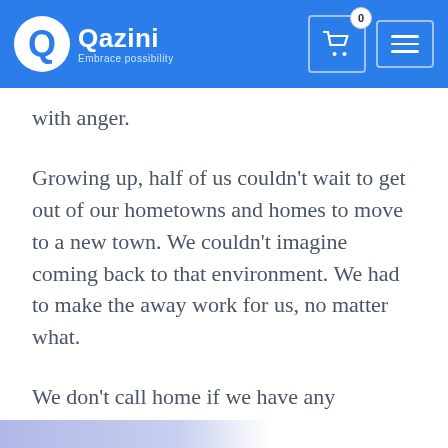Qazini — Embrace possibility
with anger.
Growing up, half of us couldn't wait to get out of our hometowns and homes to move to a new town. We couldn't imagine coming back to that environment. We had to make the away work for us, no matter what.
We don't call home if we have any emotional or psychological issues. Even in our older years, we are still afraid of communicating our desires to our parents because they think we are being